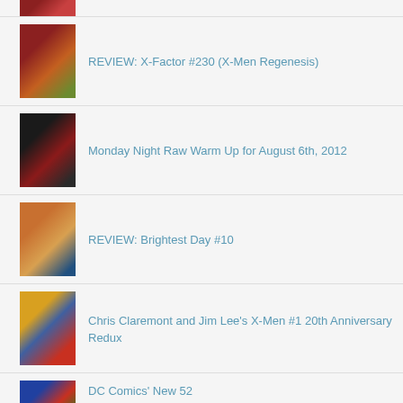[Figure (photo): Partial comic book cover image at top, cropped]
REVIEW: X-Factor #230 (X-Men Regenesis)
[Figure (photo): Comic book cover thumbnail for X-Factor #230]
Monday Night Raw Warm Up for August 6th, 2012
[Figure (photo): Comic/wrestling related thumbnail image]
REVIEW: Brightest Day #10
[Figure (photo): Comic book cover thumbnail for Brightest Day #10]
Chris Claremont and Jim Lee's X-Men #1 20th Anniversary Redux
[Figure (photo): Comic book cover thumbnail for X-Men #1]
DC Comics' New 52
[Figure (photo): Comic book cover thumbnail for DC Comics New 52]